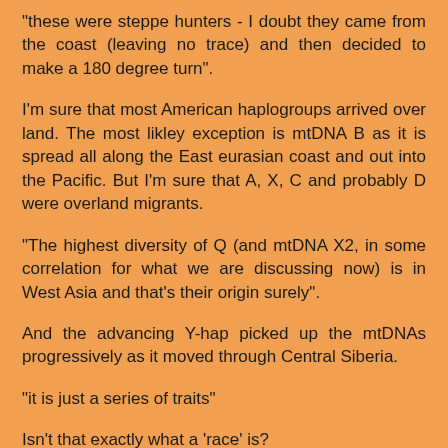"these were steppe hunters - I doubt they came from the coast (leaving no trace) and then decided to make a 180 degree turn".
I'm sure that most American haplogroups arrived over land. The most likley exception is mtDNA B as it is spread all along the East eurasian coast and out into the Pacific. But I'm sure that A, X, C and probably D were overland migrants.
"The highest diversity of Q (and mtDNA X2, in some correlation for what we are discussing now) is in West Asia and that's their origin surely".
And the advancing Y-hap picked up the mtDNAs progressively as it moved through Central Siberia.
"it is just a series of traits"
Isn't that exactly what a 'race' is?
"It's like blondisms in the West: maybe they are